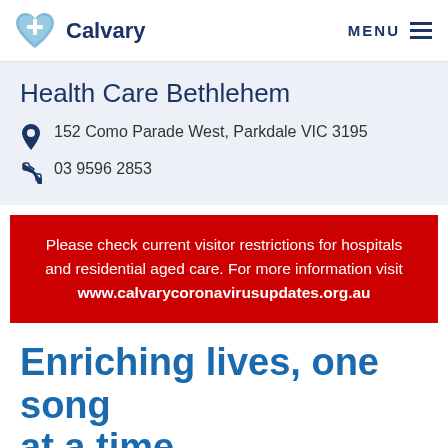Calvary | MENU
Health Care Bethlehem
152 Como Parade West, Parkdale VIC 3195
03 9596 2853
Please check current visitor restrictions for hospitals and residential aged care. For more information visit www.calvarycoronavirusupdates.org.au
Enriching lives, one song at a time